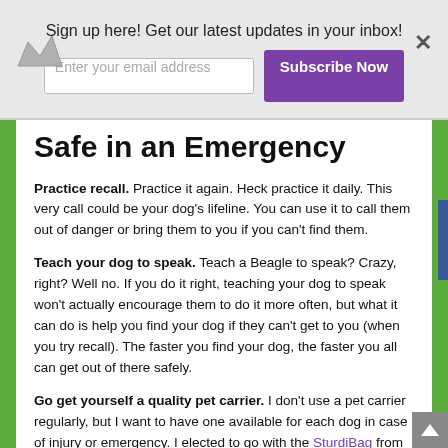Sign up here! Get our latest updates in your inbox!
Safe in an Emergency
Practice recall. Practice it again. Heck practice it daily. This very call could be your dog's lifeline. You can use it to call them out of danger or bring them to you if you can't find them.
Teach your dog to speak. Teach a Beagle to speak? Crazy, right? Well no. If you do it right, teaching your dog to speak won't actually encourage them to do it more often, but what it can do is help you find your dog if they can't get to you (when you try recall). The faster you find your dog, the faster you all can get out of there safely.
Go get yourself a quality pet carrier. I don't use a pet carrier regularly, but I want to have one available for each dog in case of injury or emergency. I elected to go with the SturdiBag from Sturdi Products for several reasons.